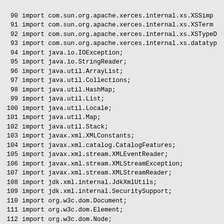90  import com.sun.org.apache.xerces.internal.xs.XSSimp
91  import com.sun.org.apache.xerces.internal.xs.XSTerm
92  import com.sun.org.apache.xerces.internal.xs.XSTypeD
93  import com.sun.org.apache.xerces.internal.xs.datatyp
94  import java.io.IOException;
95  import java.io.StringReader;
96  import java.util.ArrayList;
97  import java.util.Collections;
98  import java.util.HashMap;
99  import java.util.List;
100 import java.util.Locale;
101 import java.util.Map;
102 import java.util.Stack;
103 import javax.xml.XMLConstants;
104 import javax.xml.catalog.CatalogFeatures;
105 import javax.xml.stream.XMLEventReader;
106 import javax.xml.stream.XMLStreamException;
107 import javax.xml.stream.XMLStreamReader;
108 import jdk.xml.internal.JdkXmlUtils;
109 import jdk.xml.internal.SecuritySupport;
110 import org.w3c.dom.Document;
111 import org.w3c.dom.Element;
112 import org.w3c.dom.Node;
113 import org.xml.sax.InputSource;
114 import org.xml.sax.SAXException;
115 import org.xml.sax.SAXNotRecognizedException;
116 import org.xml.sax.SAXParseException;
117 import org.xml.sax.XMLReader;
118 import org.xml.sax.helpers.XMLReaderFactory;
119